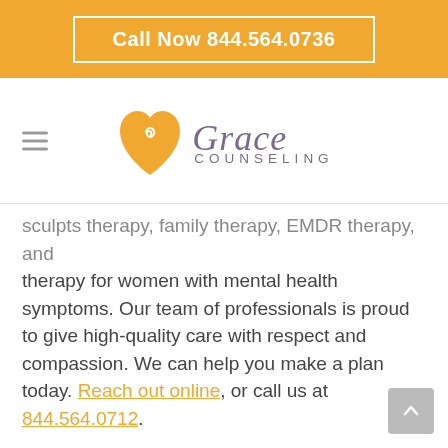Call Now 844.564.0736
[Figure (logo): Grace Counseling logo with yellow heart and script/sans-serif text]
sculpts therapy, family therapy, EMDR therapy, and therapy for women with mental health symptoms. Our team of professionals is proud to give high-quality care with respect and compassion. We can help you make a plan today. Reach out online, or call us at 844.564.0712.
Category: Addiction Treatment • September 3, 2021
Tags: Outpatient